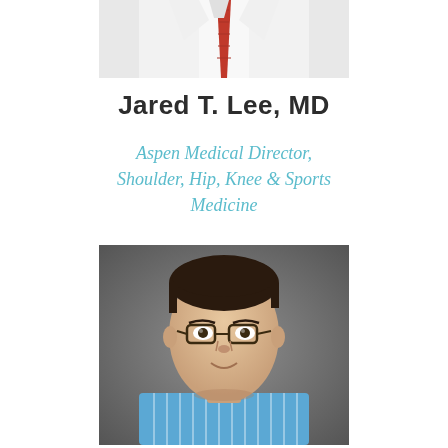[Figure (photo): Partial photo of a person in a white coat with a red tie, cropped at the top of the page]
Jared T. Lee, MD
Aspen Medical Director, Shoulder, Hip, Knee & Sports Medicine
[Figure (photo): Headshot of Jared T. Lee, MD — a young man with short dark hair, glasses, and a blue striped shirt, against a gray background]